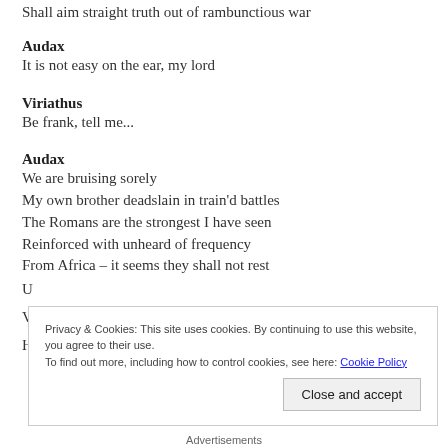Shall aim straight truth out of rambunctious war
Audax
It is not easy on the ear, my lord
Viriathus
Be frank, tell me...
Audax
We are bruising sorely
My own brother deadslain in train'd battles
The Romans are the strongest I have seen
Reinforced with unheard of frequency
From Africa – it seems they shall not rest
Privacy & Cookies: This site uses cookies. By continuing to use this website, you agree to their use.
To find out more, including how to control cookies, see here: Cookie Policy
Close and accept
Advertisements